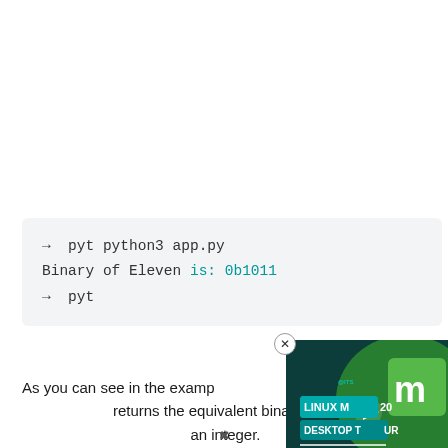→   pyt python3 app.py
Binary of Eleven is: 0b1011
→   pyt
As you can see in the example above, the bin() function returns the equivalent binary of a number passed to it as an integer.
[Figure (screenshot): Video overlay showing Linux Mint 20 Desktop Tour thumbnail with play button, partially overlapping the text. A close (X) button appears in the top-right corner of the video.]